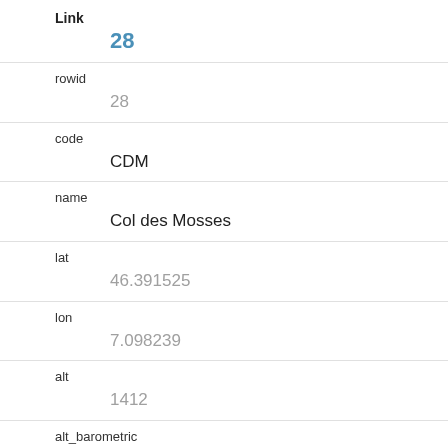| Field | Value |
| --- | --- |
| Link | 28 |
| rowid | 28 |
| code | CDM |
| name | Col des Mosses |
| lat | 46.391525 |
| lon | 7.098239 |
| alt | 1412 |
| alt_barometric |  |
| chx | 2573817 |
| chy | 1137853 |
| station_type |  |